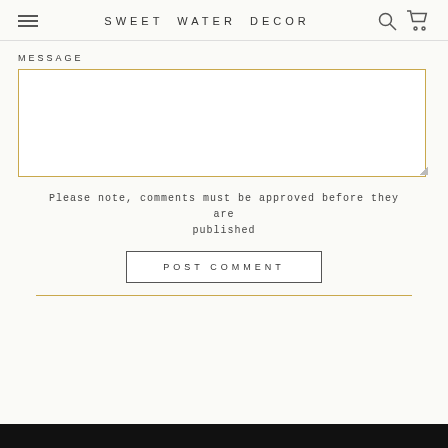SWEET WATER DECOR
MESSAGE
Please note, comments must be approved before they are published
POST COMMENT